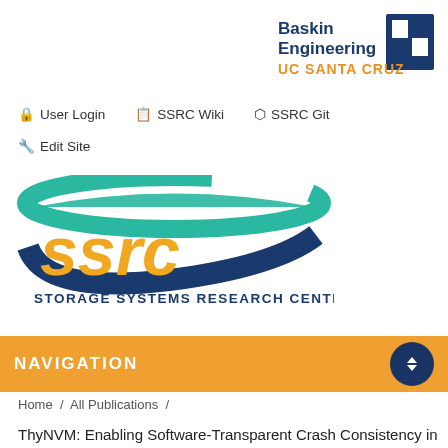[Figure (logo): Baskin Engineering UC Santa Cruz logo — blue text with white and blue stylized H icon]
🔒 User Login
📋 SSRC Wiki
⬡ SSRC Git
🔧 Edit Site
[Figure (logo): SSRC Storage Systems Research Center logo — teal and dark blue swoosh with large golden yellow 'ssrc' letters and subtitle 'Storage Systems Research Center' in dark blue]
NAVIGATION
Home / All Publications /
ThyNVM: Enabling Software-Transparent Crash Consistency in